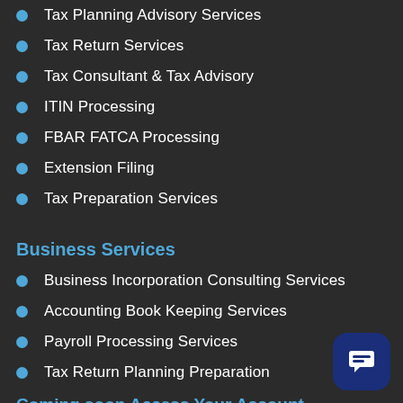Tax Planning Advisory Services
Tax Return Services
Tax Consultant & Tax Advisory
ITIN Processing
FBAR FATCA Processing
Extension Filing
Tax Preparation Services
Business Services
Business Incorporation Consulting Services
Accounting Book Keeping Services
Payroll Processing Services
Tax Return Planning Preparation
Coming soon Access Your Account